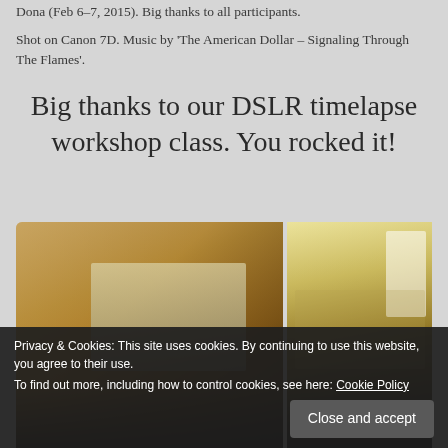Dona (Feb 6-7, 2015). Big thanks to all participants.
Shot on Canon 7D. Music by 'The American Dollar – Signaling Through The Flames'.
Big thanks to our DSLR timelapse workshop class. You rocked it!
[Figure (photo): Two workshop photos side by side: left shows a projected screen on a wall in a dim room; right shows an overhead view of a classroom with participants at white tables.]
Privacy & Cookies: This site uses cookies. By continuing to use this website, you agree to their use.
To find out more, including how to control cookies, see here: Cookie Policy